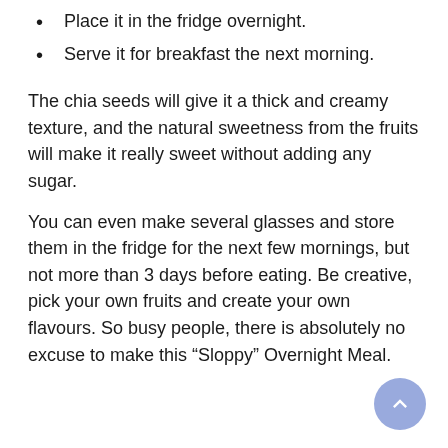Place it in the fridge overnight.
Serve it for breakfast the next morning.
The chia seeds will give it a thick and creamy texture, and the natural sweetness from the fruits will make it really sweet without adding any sugar.
You can even make several glasses and store them in the fridge for the next few mornings, but not more than 3 days before eating. Be creative, pick your own fruits and create your own flavours. So busy people, there is absolutely no excuse to make this “Sloppy” Overnight Meal.